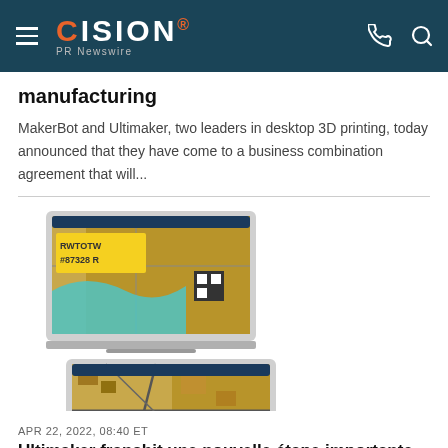CISION PR Newswire
manufacturing
MakerBot and Ultimaker, two leaders in desktop 3D printing, today announced that they have come to a business combination agreement that will...
[Figure (screenshot): Two stacked laptops displaying map software with aerial/topographic views. The top laptop shows a detailed parcel map with label 'RWTOTW #87328 R'. The bottom laptop shows a satellite-style topographic map view.]
APR 22, 2022, 08:40 ET
Ultimaker franchit une nouvelle étape importante dans l'impression 3D avec la sortie d'Ultimaker Cura 5.0